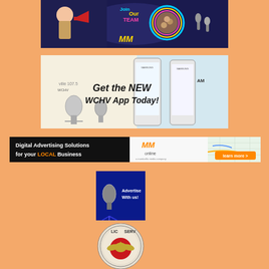[Figure (illustration): Top banner showing a woman with megaphone (retro style) on left, 'Join Our Team' text in center-top, and a circular photo of hands joined together on the right. MM logo at bottom center. Blue/dark background.]
[Figure (illustration): WCHV App banner. Left side shows Charlottesville 107.5 WCHV logo with microphones on cream background. Right side shows two Samsung smartphones displaying the WCHV app. Large bold text reads 'Get the NEW WCHV App Today!']
[Figure (illustration): Digital Advertising Solutions banner. Black left section with white text 'Digital Advertising Solutions for your LOCAL Business' (LOCAL in orange). Center shows MM Online logo (orange) with 'a montecello media company'. Right shows map graphic with orange 'learn more >' button.]
[Figure (illustration): Advertise With Us banner. Blue background with microphone image on left and white text 'Advertise With us!' on the right.]
[Figure (illustration): Public Service badge/seal - circular logo with 'LIC SERV' text visible, appears to be a government or public service emblem with decorative border.]